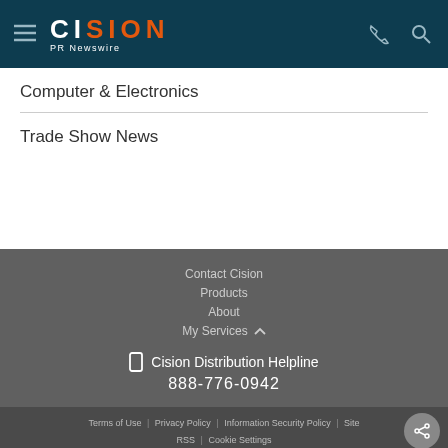CISION PR Newswire
Computer & Electronics
Trade Show News
Contact Cision
Products
About
My Services
Cision Distribution Helpline 888-776-0942
Terms of Use | Privacy Policy | Information Security Policy | Site | RSS | Cookie Settings